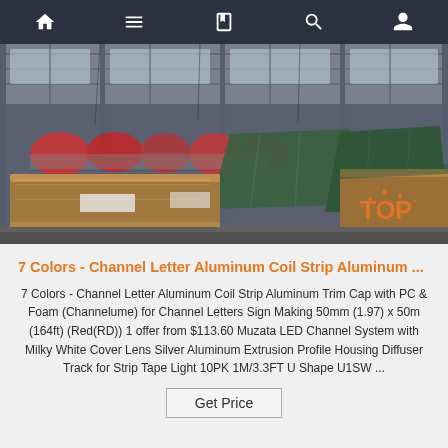Navigation bar with home, menu, book, search, and profile icons
[Figure (photo): Warehouse interior showing stacked aluminum coil/sheet metal products wrapped in brown packaging and green tarps on a concrete floor with industrial roof structure]
7 Colors - Channel Letter Aluminum Coil Strip Aluminum ...
7 Colors - Channel Letter Aluminum Coil Strip Aluminum Trim Cap with PC & Foam (Channelume) for Channel Letters Sign Making 50mm (1.97) x 50m (164ft) (Red(RD)) 1 offer from $113.60 Muzata LED Channel System with Milky White Cover Lens Silver Aluminum Extrusion Profile Housing Diffuser Track for Strip Tape Light 10PK 1M/3.3FT U Shape U1SW ...
Get Price